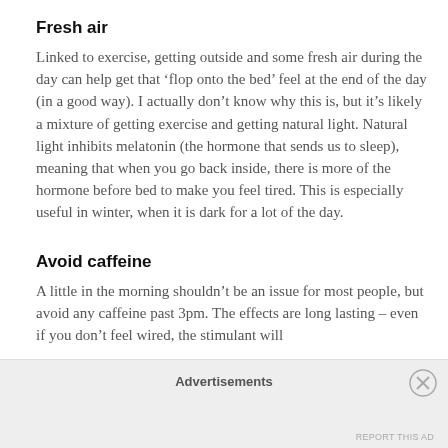Fresh air
Linked to exercise, getting outside and some fresh air during the day can help get that ‘flop onto the bed’ feel at the end of the day (in a good way). I actually don’t know why this is, but it’s likely a mixture of getting exercise and getting natural light. Natural light inhibits melatonin (the hormone that sends us to sleep), meaning that when you go back inside, there is more of the hormone before bed to make you feel tired. This is especially useful in winter, when it is dark for a lot of the day.
Avoid caffeine
A little in the morning shouldn’t be an issue for most people, but avoid any caffeine past 3pm. The effects are long lasting – even if you don’t feel wired, the stimulant will
Advertisements